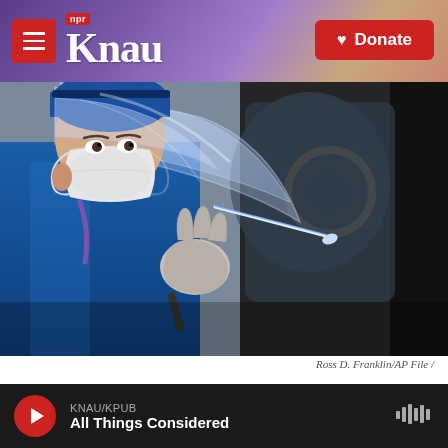KNAU NPR — Donate
[Figure (photo): A healthcare worker wearing a face shield, KN95 mask, blue protective gown, and gloves holds a nasal swab toward a car window at a COVID-19 testing site. The worker is facing right and the car window and door frame are visible.]
Ross D. Franklin/AP File /
Coconino County reported a one-day jump of 105 new known cases of COVID-19 Monday. It's a major increase, but health officials say a change in how they record infections accounts for the rise. KNAU's
KNAU/KPUB  All Things Considered